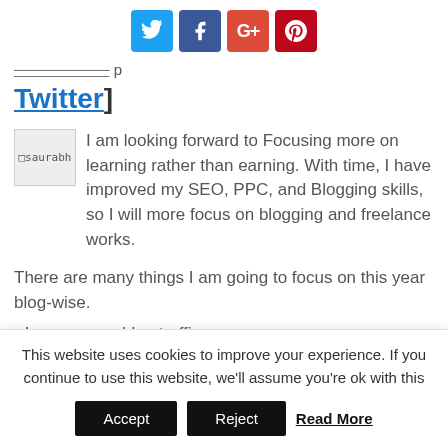[Figure (infographic): Social sharing buttons: Twitter (blue), Facebook (dark blue), Google+ (red), Pinterest (dark red)]
Twitter]
[Figure (photo): Profile image placeholder labeled 'saurabh']
I am looking forward to Focusing more on learning rather than earning. With time, I have improved my SEO, PPC, and Blogging skills, so I will more focus on blogging and freelance works.
There are many things I am going to focus on this year blog-wise.
• Increase my blog traffic
This website uses cookies to improve your experience. If you continue to use this website, we'll assume you're ok with this
Accept   Reject   Read More